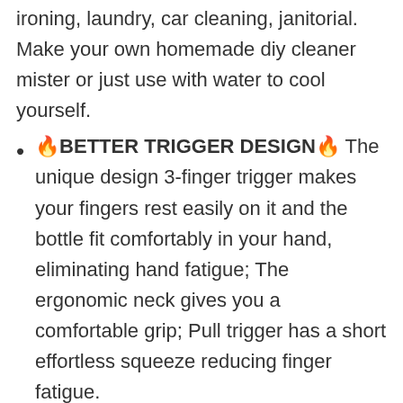ironing, laundry, car cleaning, janitorial. Make your own homemade diy cleaner mister or just use with water to cool yourself.
🔥BETTER TRIGGER DESIGN🔥 The unique design 3-finger trigger makes your fingers rest easily on it and the bottle fit comfortably in your hand, eliminating hand fatigue; The ergonomic neck gives you a comfortable grip; Pull trigger has a short effortless squeeze reducing finger fatigue.